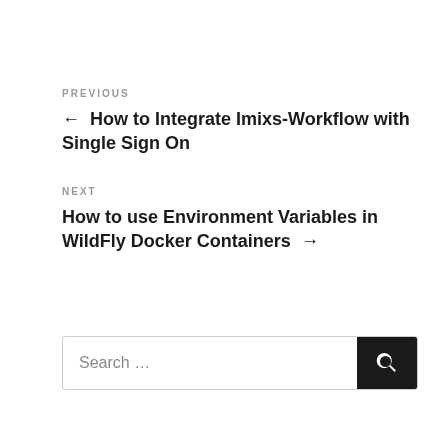PREVIOUS
← How to Integrate Imixs-Workflow with Single Sign On
NEXT
How to use Environment Variables in WildFly Docker Containers →
Search …